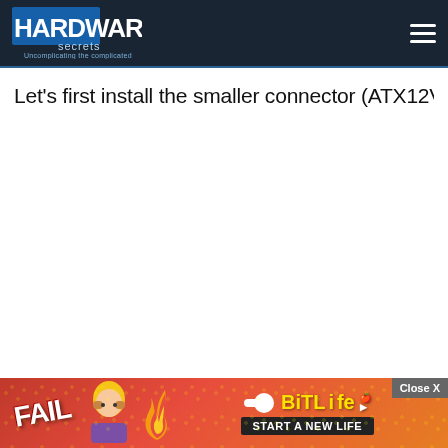Hardware Secrets — Uncomplicating the complicated
Let's first install the smaller connector (ATX12V…
[Figure (screenshot): BitLife advertisement banner with 'FAIL' text, cartoon character, flame graphics and 'START A NEW LIFE' tagline. Has a 'Close X' button in corner.]